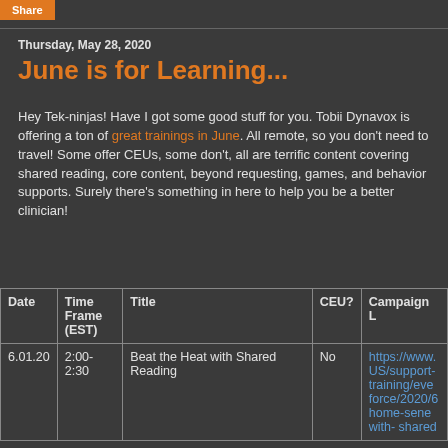Share
Thursday, May 28, 2020
June is for Learning...
Hey Tek-ninjas! Have I got some good stuff for you. Tobii Dynavox is offering a ton of great trainings in June. All remote, so you don't need to travel! Some offer CEUs, some don't, all are terrific content covering shared reading, core content, beyond requesting, games, and behavior supports. Surely there's something in here to help you be a better clinician!
| Date | Time Frame (EST) | Title | CEU? | Campaign L |
| --- | --- | --- | --- | --- |
| 6.01.20 | 2:00-2:30 | Beat the Heat with Shared Reading | No | https://www. US/support- training/eve force/2020/6 home-sene with- shared |